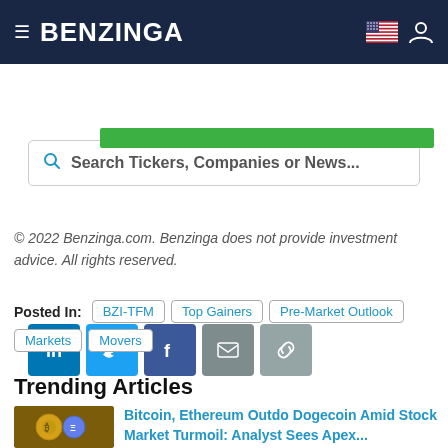BENZINGA
Search Tickers, Companies or News...
[Figure (infographic): Green banner strip]
[Figure (infographic): Social share buttons: LinkedIn, Twitter, Facebook, Email, Link]
© 2022 Benzinga.com. Benzinga does not provide investment advice. All rights reserved.
Posted In: BZI-TFM  Top Gainers  Pre-Market Outlook  Markets  Movers
Trending Articles
Bitcoin, Ethereum Outdo Dogecoin Amid Stock Market Turmoil: Analyst Sees Apex...